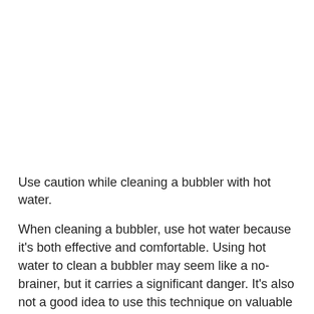Use caution while cleaning a bubbler with hot water.
When cleaning a bubbler, use hot water because it's both effective and comfortable. Using hot water to clean a bubbler may seem like a no-brainer, but it carries a significant danger. It's also not a good idea to use this technique on valuable objects. This is because the bubblers might be damaged by the heat.